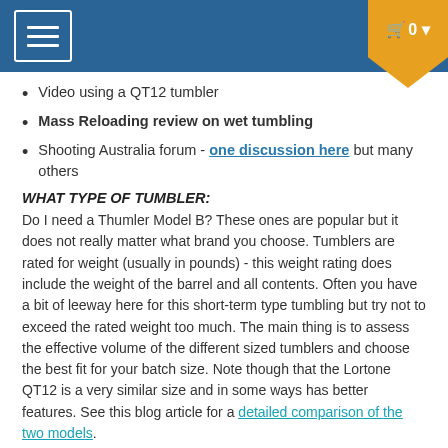Menu | Cart 0
Video using a QT12 tumbler
Mass Reloading review on wet tumbling
Shooting Australia forum - one discussion here but many others
WHAT TYPE OF TUMBLER:
Do I need a Thumler Model B?  These ones are popular but it does not really matter what brand you choose. Tumblers are rated for weight (usually in pounds) - this weight rating does include the weight of the barrel and all contents. Often you have a bit of leeway here for this short-term type tumbling but try not to exceed the rated weight too much. The main thing is to assess the effective volume of the different sized tumblers and choose the best fit for your batch size.  Note though that the Lortone QT12 is a very similar size and in some ways has better features.  See this blog article for a detailed comparison of the two models.
So what type of tumbler does not really matter as long as you